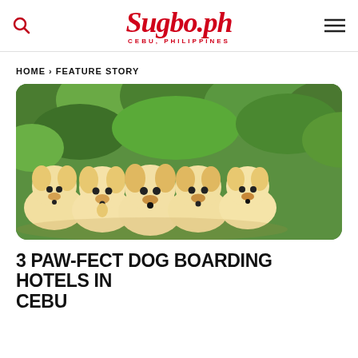Sugbo.ph — CEBU, PHILIPPINES
HOME › FEATURE STORY
[Figure (photo): Five golden retriever puppies sitting in a row against a green leafy background]
3 PAW-FECT DOG BOARDING HOTELS IN CEBU